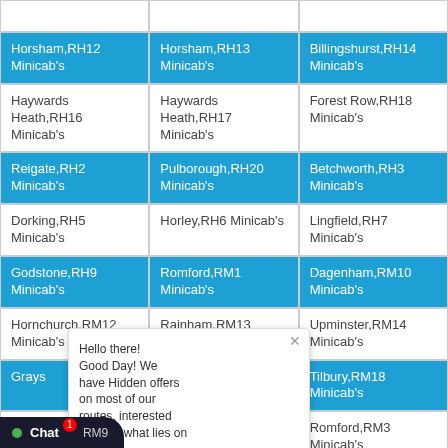| Horsham,RH12 Minicab's | Horsham,RH13 Minicab's | Billingshurst,RH14 Minicab's |
| Haywards Heath,RH16 Minicab's | Haywards Heath,RH17 Minicab's | Forest Row,RH18 Minicab's |
| Reigate,RH2 Minicab's | Pulborough,RH20 Minicab's | Betchworth,RH3 Minicab's |
| Dorking,RH5 Minicab's | Horley,RH6 Minicab's | Lingfield,RH7 Minicab's |
| Godstone,RH9 Minicab's | Romford,RM1 Minicab's | Dagenham,RM10 Minicab's |
| Hornchurch,RM12 Minicab's | Rainham,RM13 Minicab's | Upminster,RM14 Minicab's |
| Grays,RM16 Minicab's | Grays,RM17 Minicab's | Tilbury,RM18 Minicab's |
| Romford,RM2 Minicab's | Grays,RM20 Minicab's | Romford,RM3 Minicab's |
| Romford,RM5 Minicab's | Romford,RM6 Minicab's | Romford,RM7 Minicab's |
| Romford,RM9 Minicab's | Sheffield,S1 Minicab's | Sheffield,S10 Minicab's |